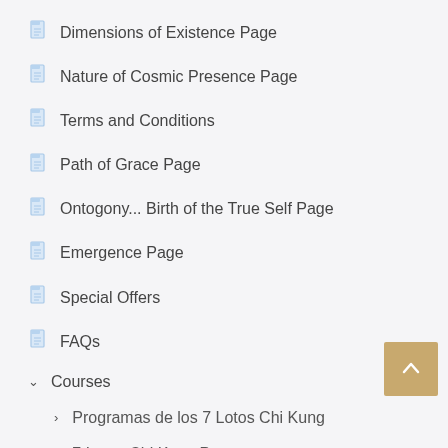Dimensions of Existence Page
Nature of Cosmic Presence Page
Terms and Conditions
Path of Grace Page
Ontogony... Birth of the True Self Page
Emergence Page
Special Offers
FAQs
Courses
Programas de los 7 Lotos Chi Kung
7 Lotus Chi Kung Programs
Programas de Desarrollo Energético
Energy Development Programs
Sanación y Chamanismo
Healing and Shamanism